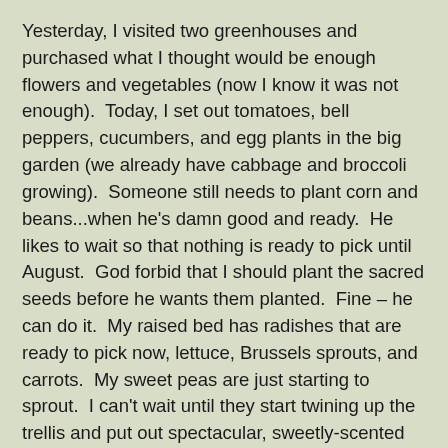Yesterday, I visited two greenhouses and purchased what I thought would be enough flowers and vegetables (now I know it was not enough).  Today, I set out tomatoes, bell peppers, cucumbers, and egg plants in the big garden (we already have cabbage and broccoli growing).  Someone still needs to plant corn and beans...when he's damn good and ready.  He likes to wait so that nothing is ready to pick until August.  God forbid that I should plant the sacred seeds before he wants them planted.  Fine – he can do it.  My raised bed has radishes that are ready to pick now, lettuce, Brussels sprouts, and carrots.  My sweet peas are just starting to sprout.  I can't wait until they start twining up the trellis and put out spectacular, sweetly-scented BLOOMS (I am hopeful). Sometime this weekend, I'll plant flowers in pots, and zinnias and snapdragons in the big garden for cutting – weather permitting, of course.
I love planting and gardening.  It's a wonderfully mindless thing to do.  When I was a kid, I hated working in the garden.  It was boring and nothing but a dreary chore to me.  Now that I'm an old woman with one foot in the grave, I love it.  (Honestly, I'm not quite old age yet, and I don't think the